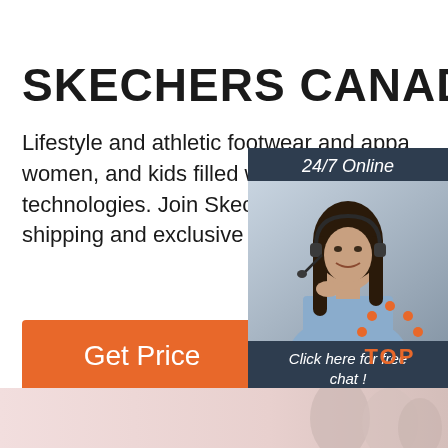SKECHERS CANADA
Lifestyle and athletic footwear and apparel for men, women, and kids filled with innovative comfort technologies. Join Skechers Elite for discounts, free shipping and exclusive offers.
[Figure (other): Orange 'Get Price' button]
[Figure (other): Chat widget with '24/7 Online' header, photo of woman with headset, 'Click here for free chat!' text, and orange QUOTATION button]
[Figure (logo): TOP logo with orange dots in arc and orange text 'TOP']
[Figure (photo): Bottom banner strip showing blurred shoppers in soft pink/warm tones]